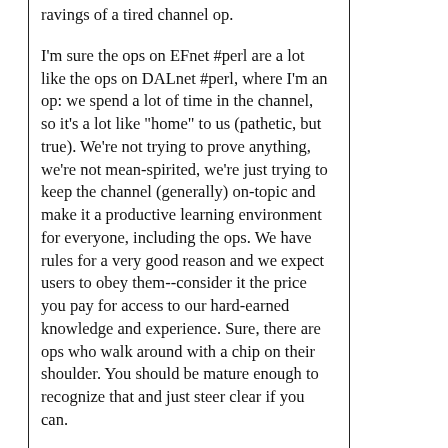ravings of a tired channel op.
I'm sure the ops on EFnet #perl are a lot like the ops on DALnet #perl, where I'm an op: we spend a lot of time in the channel, so it's a lot like "home" to us (pathetic, but true). We're not trying to prove anything, we're not mean-spirited, we're just trying to keep the channel (generally) on-topic and make it a productive learning environment for everyone, including the ops. We have rules for a very good reason and we expect users to obey them--consider it the price you pay for access to our hard-earned knowledge and experience. Sure, there are ops who walk around with a chip on their shoulder. You should be mature enough to recognize that and just steer clear if you can.
Sit in a #perl channel for eight